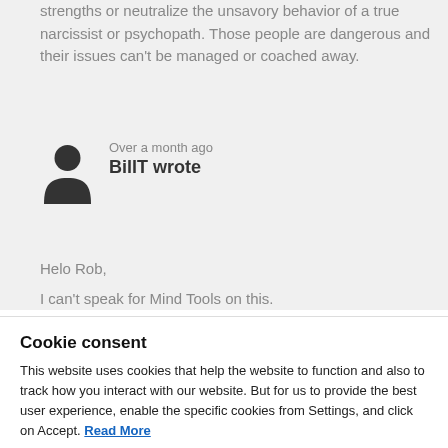strengths or neutralize the unsavory behavior of a true narcissist or psychopath. Those people are dangerous and their issues can't be managed or coached away.
Over a month ago
BillT wrote
Helo Rob,
I can't speak for Mind Tools on this.
Cookie consent
This website uses cookies that help the website to function and also to track how you interact with our website. But for us to provide the best user experience, enable the specific cookies from Settings, and click on Accept. Read More